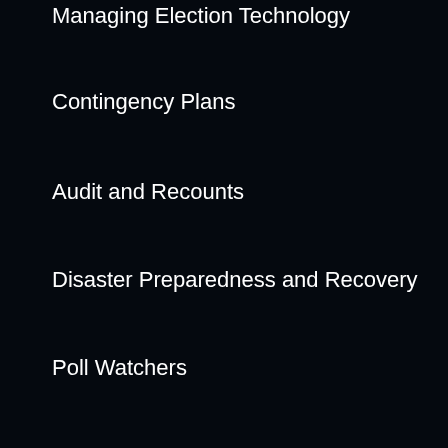Managing Election Technology
Contingency Plans
Audit and Recounts
Disaster Preparedness and Recovery
Poll Watchers
Election Official Toolkit
Tech Time
PCEA